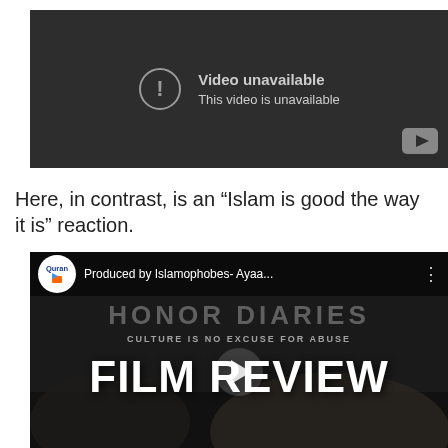[Figure (screenshot): YouTube embedded video player showing 'Video unavailable — This video is unavailable' message with dark grey background and YouTube logo in corner.]
Here, in contrast, is an “Islam is good the way it is” reaction.
[Figure (screenshot): YouTube video thumbnail for 'Honor Diaries Film Review' video uploaded by Quran channel, showing text 'Produced by Islamophobes- Ayaa...' with 'FILM REVIEW' large text overlay and play button.]